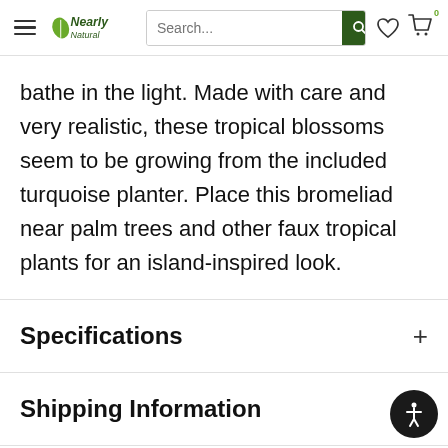Nearly Natural — Search bar, wishlist, cart
bathe in the light. Made with care and very realistic, these tropical blossoms seem to be growing from the included turquoise planter. Place this bromeliad near palm trees and other faux tropical plants for an island-inspired look.
Specifications
Shipping Information
Payment & Security